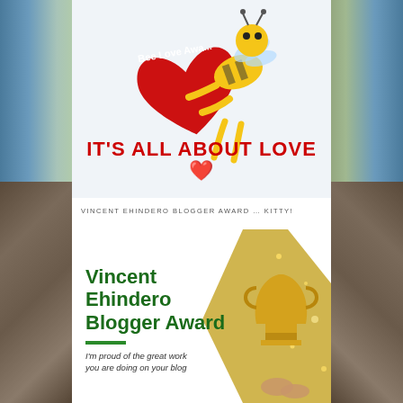[Figure (illustration): Bee Love Award illustration: cartoon bee holding a large red heart with 'Bee Love Award' text on it, white background]
IT'S ALL ABOUT LOVE ❤
VINCENT EHINDERO BLOGGER AWARD … KITTY!
[Figure (illustration): Vincent Ehindero Blogger Award image: green bold text 'Vincent Ehindero Blogger Award' on white background with a golden trophy held by hands on the right side, and italic text 'I'm proud of the great work you are doing on your blog']